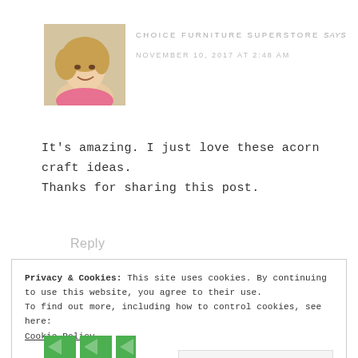[Figure (photo): Profile photo of a blonde woman smiling]
CHOICE FURNITURE SUPERSTORE says
NOVEMBER 10, 2017 AT 2:48 AM
It's amazing. I just love these acorn craft ideas.
Thanks for sharing this post.
Reply
Privacy & Cookies: This site uses cookies. By continuing to use this website, you agree to their use.
To find out more, including how to control cookies, see here:
Cookie Policy
Close and accept